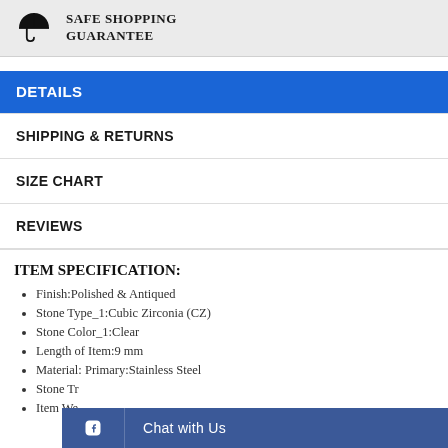[Figure (logo): Safe Shopping Guarantee banner with umbrella icon and text]
DETAILS
SHIPPING & RETURNS
SIZE CHART
REVIEWS
ITEM SPECIFICATION:
Finish:Polished & Antiqued
Stone Type_1:Cubic Zirconia (CZ)
Stone Color_1:Clear
Length of Item:9 mm
Material: Primary:Stainless Steel
Stone Tr...
Item Wei...